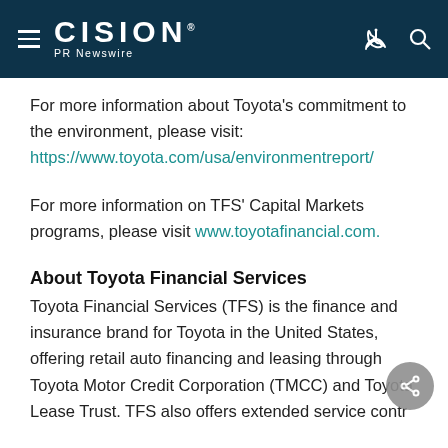CISION PR Newswire
For more information about Toyota's commitment to the environment, please visit: https://www.toyota.com/usa/environmentreport/
For more information on TFS' Capital Markets programs, please visit www.toyotafinancial.com.
About Toyota Financial Services
Toyota Financial Services (TFS) is the finance and insurance brand for Toyota in the United States, offering retail auto financing and leasing through Toyota Motor Credit Corporation (TMCC) and Toyota Lease Trust. TFS also offers extended service contra… through Toyota Motor… Services (TMIS). T…